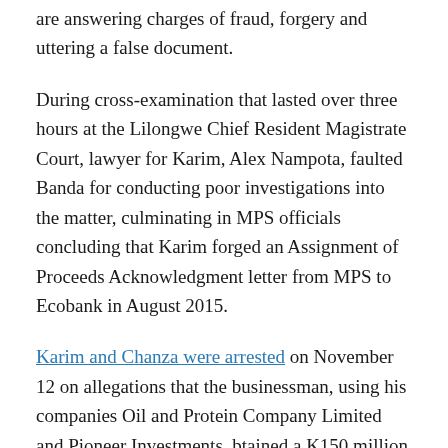are answering charges of fraud, forgery and uttering a false document.
During cross-examination that lasted over three hours at the Lilongwe Chief Resident Magistrate Court, lawyer for Karim, Alex Nampota, faulted Banda for conducting poor investigations into the matter, culminating in MPS officials concluding that Karim forged an Assignment of Proceeds Acknowledgment letter from MPS to Ecobank in August 2015.
Karim and Chanza were arrested on November 12 on allegations that the businessman, using his companies Oil and Protein Company Limited and Pioneer Investments, btained a K150 million loan from Ecobank using forged documents with a promise to pay back the loan from proceeds of the Police food rations deal but never did.
Nampota, who referred to email and WhatsApp conversations